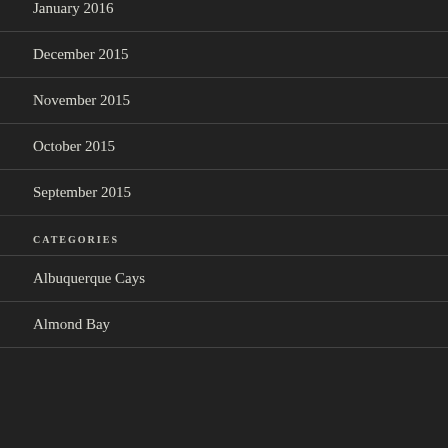January 2016
December 2015
November 2015
October 2015
September 2015
CATEGORIES
Albuquerque Cays
Almond Bay